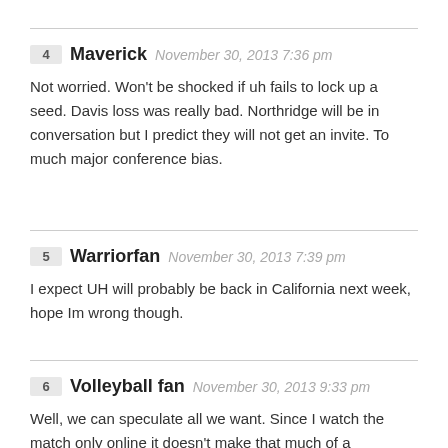4 Maverick November 30, 2013 7:36 pm
Not worried. Won't be shocked if uh fails to lock up a seed. Davis loss was really bad. Northridge will be in conversation but I predict they will not get an invite. To much major conference bias.
5 Warriorfan November 30, 2013 7:39 pm
I expect UH will probably be back in California next week, hope Im wrong though.
6 Volleyball fan November 30, 2013 9:33 pm
Well, we can speculate all we want. Since I watch the match only online it doesn't make that much of a